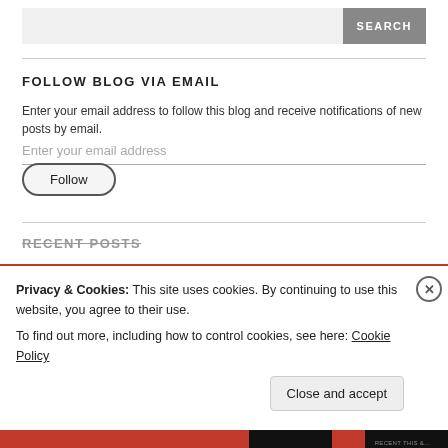SEARCH
FOLLOW BLOG VIA EMAIL
Enter your email address to follow this blog and receive notifications of new posts by email.
Enter your email address
Follow
RECENT POSTS
Privacy & Cookies: This site uses cookies. By continuing to use this website, you agree to their use.
To find out more, including how to control cookies, see here: Cookie Policy
Close and accept